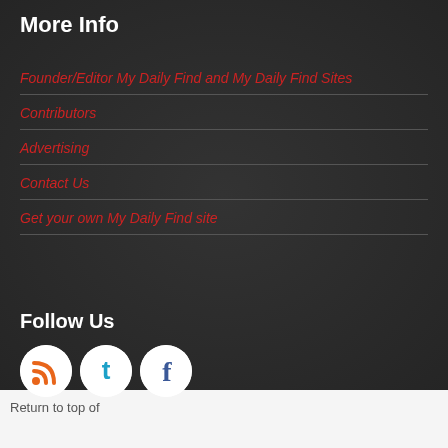More Info
Founder/Editor My Daily Find and My Daily Find Sites
Contributors
Advertising
Contact Us
Get your own My Daily Find site
Follow Us
[Figure (illustration): Three social media icons: RSS feed (orange), Twitter (cyan), Facebook (blue), each in a white circle]
Return to top of